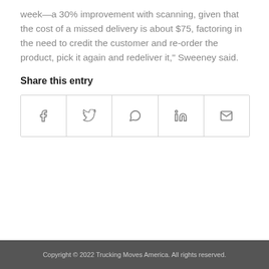week—a 30% improvement with scanning, given that the cost of a missed delivery is about $75, factoring in the need to credit the customer and re-order the product, pick it again and redeliver it," Sweeney said.
Share this entry
[Figure (other): Social share buttons row with icons for Facebook, Twitter, WhatsApp, LinkedIn, and Email]
Copyright © 2022 Trucking Moves America. All rights reserved.